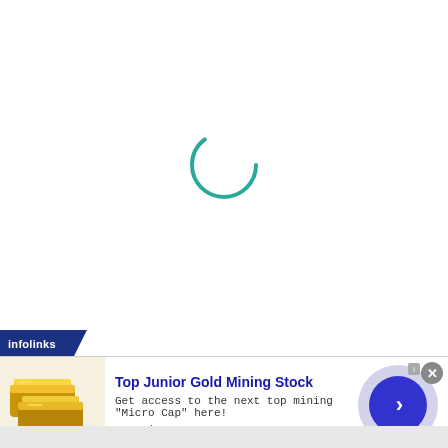[Figure (other): Loading spinner — a teal/green circular arc spinner icon centered on a white background, indicating a page is loading.]
[Figure (screenshot): Infolinks advertisement banner with label 'infolinks' in dark blue badge, showing ad for 'Top Junior Gold Mining Stock' with gold bar image, description text, URL www.rivres.com, a close X button, and a blue circular navigation arrow button.]
Top Junior Gold Mining Stock
Get access to the next top mining "Micro Cap" here!
www.rivres.com